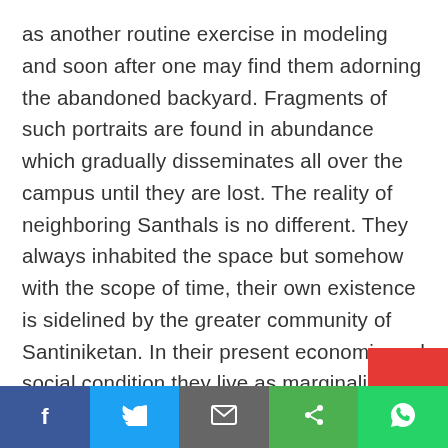as another routine exercise in modeling and soon after one may find them adorning the abandoned backyard. Fragments of such portraits are found in abundance which gradually disseminates all over the campus until they are lost. The reality of neighboring Santhals is no different. They always inhabited the space but somehow with the scope of time, their own existence is sidelined by the greater community of Santiniketan. In their present economic and social condition they live as marginalized entities. Even several decades back such alienation was not prominent. It is indeed true that they always maintained their private community life but their existence was never labeled as ‘exotic’. To larger urban populace, till today the name ‘Santhal’ continue to construct a mental image of bow and arrow b
[Figure (other): Social media sharing bar at bottom with Facebook, Twitter, Email, Share, and WhatsApp buttons, plus a red block overlay]